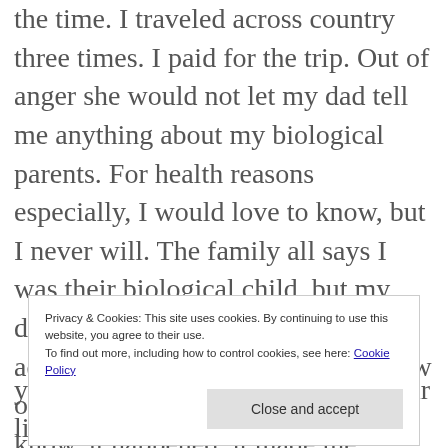the time. I traveled across country three times. I paid for the trip. Out of anger she would not let my dad tell me anything about my biological parents. For health reasons especially, I would love to know, but I never will. The family all says I was their biological child, but my dad said twice I was not, that I was adopted. So my kids will never know our heritage, health issues. But you know, it happened, it made me stronger, and it brought me closer to God, drawing on his strength to totally forgive, and know he loves
Privacy & Cookies: This site uses cookies. By continuing to use this website, you agree to their use. To find out more, including how to control cookies, see here: Cookie Policy
Close and accept
your own actions, thoughts, and your life. Just